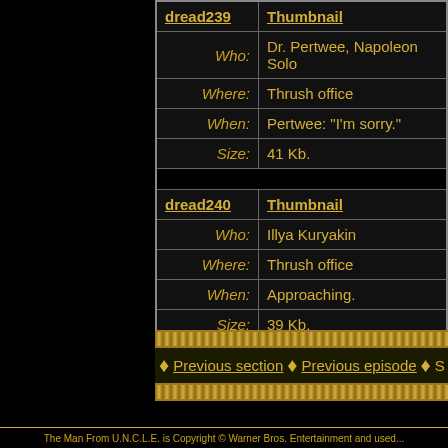| Link | Type |
| --- | --- |
| dread239 | Thumbnail |
| Who: | Dr. Pertwee, Napoleon Solo |
| Where: | Thrush office |
| When: | Pertwee: "I'm sorry." |
| Size: | 41 Kb. |
| dread240 | Thumbnail |
| Who: | Illya Kuryakin |
| Where: | Thrush office |
| When: | Approaching. |
| Size: | 39 Kb. |
Previous section | Previous episode | S
The Man From U.N.C.L.E. is Copyright © Warner Bros. Entertainment and used...